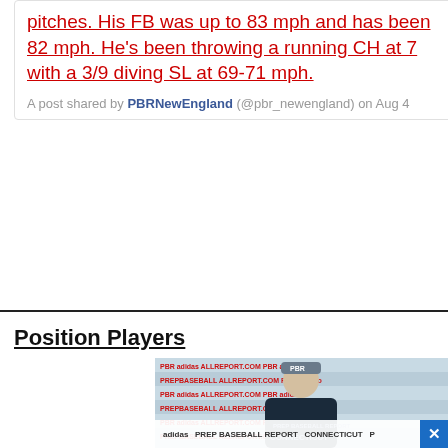pitches. His FB was up to 83 mph and has been 82 mph. He's been throwing a running CH at 7 with a 3/9 diving SL at 69-71 mph.
A post shared by PBRNewEngland (@pbr_newengland) on Aug 4
Position Players
[Figure (photo): Young male baseball player in PBR Connecticut uniform standing in front of a PBR/adidas/Mizuno branded backdrop banner. He is wearing a grey PBR snapback hat, a dark navy/yellow adidas shirt, and a light blue CONNECTICUT jersey. The photo is taken at a Prep Baseball Report event.]